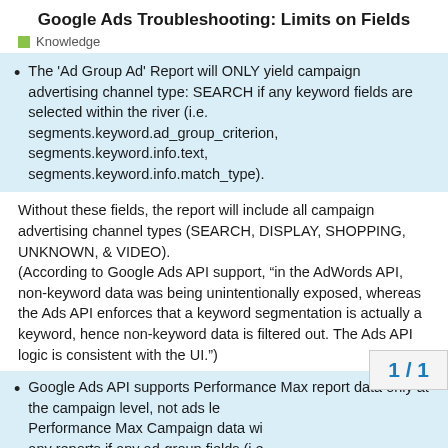Google Ads Troubleshooting: Limits on Fields
Knowledge
The 'Ad Group Ad' Report will ONLY yield campaign advertising channel type: SEARCH if any keyword fields are selected within the river (i.e. segments.keyword.ad_group_criterion, segments.keyword.info.text, segments.keyword.info.match_type).
Without these fields, the report will include all campaign advertising channel types (SEARCH, DISPLAY, SHOPPING, UNKNOWN, & VIDEO).
(According to Google Ads API support, “in the AdWords API, non-keyword data was being unintentionally exposed, whereas the Ads API enforces that a keyword segmentation is actually a keyword, hence non-keyword data is filtered out. The Ads API logic is consistent with the UI.”)
Google Ads API supports Performance Max report data only at the campaign level, not ads level. Therefore, Performance Max Campaign data will be filtered out of any reports if any ad-group fields (i.e.